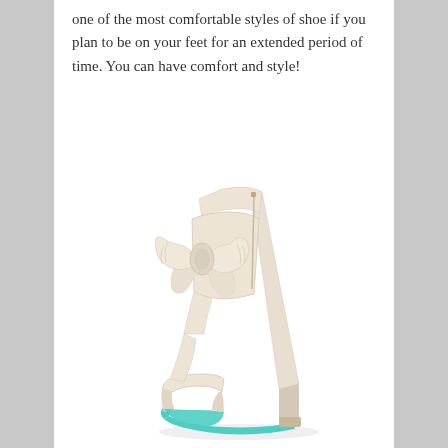one of the most comfortable styles of shoe if you plan to be on your feet for an extended period of time. You can have comfort and style!
[Figure (photo): A cream/ivory wedge heel sandal with a large satin bow detail at the ankle strap, open toe, back zipper, and a turquoise/mint colored sole.]